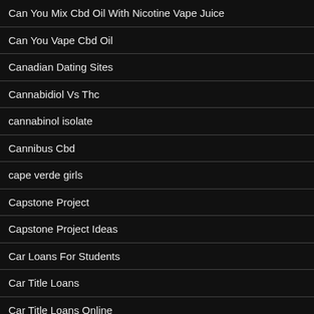Can You Mix Cbd Oil With Nicotine Vape Juice
Can You Vape Cbd Oil
Canadian Dating Sites
Cannabidiol Vs Thc
cannabinol isolate
Cannibus Cbd
cape verde girls
Capstone Project
Capstone Project Ideas
Car Loans For Students
Car Title Loans
Car Title Loans Online
Cash Advance